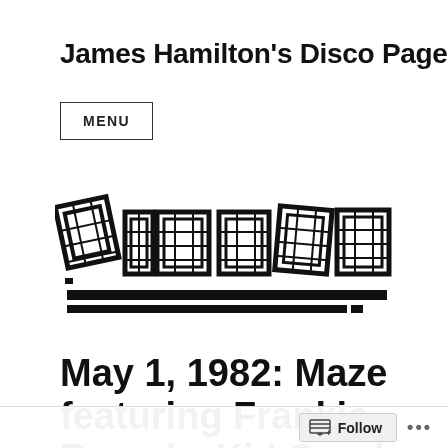James Hamilton's Disco Page
MENU
[Figure (illustration): Black and white graphic logo spelling out DISCOS in large tiled/mosaic-style block letters, with a horizontal bar underneath, resembling a vintage disco sign or newspaper header image.]
May 1, 1982: Maze featuring Frankie Beverly, Kid Creole & The
Follow